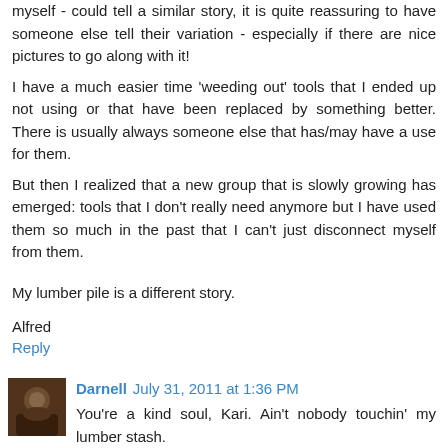myself - could tell a similar story, it is quite reassuring to have someone else tell their variation - especially if there are nice pictures to go along with it!
I have a much easier time 'weeding out' tools that I ended up not using or that have been replaced by something better. There is usually always someone else that has/may have a use for them.
But then I realized that a new group that is slowly growing has emerged: tools that I don't really need anymore but I have used them so much in the past that I can't just disconnect myself from them.
My lumber pile is a different story.
Alfred
Reply
[Figure (photo): Small avatar photo of commenter Darnell, showing a person in a dark setting]
Darnell July 31, 2011 at 1:36 PM
You're a kind soul, Kari. Ain't nobody touchin' my lumber stash.
Reply